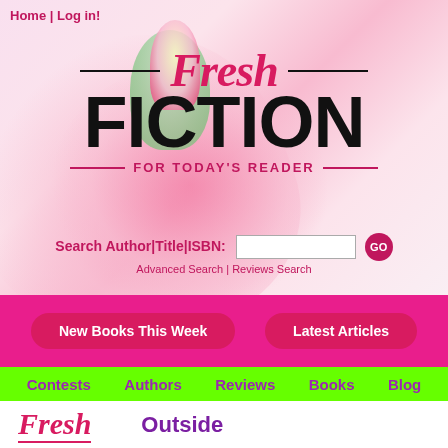Home | Log in!
Fresh FICTION FOR TODAY'S READER
Search Author|Title|ISBN: [input] GO
Advanced Search | Reviews Search
New Books This Week
Latest Articles
Contests   Authors   Reviews   Books   Blog
Fresh
Outside